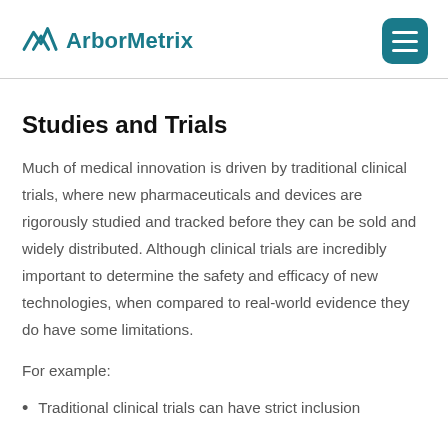ArborMetrix
Studies and Trials
Much of medical innovation is driven by traditional clinical trials, where new pharmaceuticals and devices are rigorously studied and tracked before they can be sold and widely distributed. Although clinical trials are incredibly important to determine the safety and efficacy of new technologies, when compared to real-world evidence they do have some limitations.
For example:
Traditional clinical trials can have strict inclusion